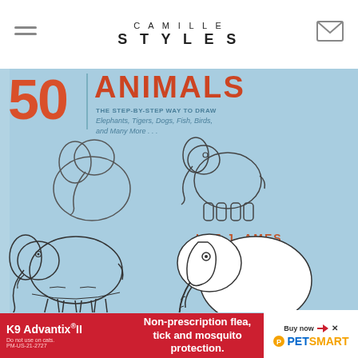CAMILLE STYLES
[Figure (illustration): Book cover of 'Draw 50 Animals' by Lee J. Ames showing step-by-step elephant drawings on a light blue background. The number '50' appears in large orange/red text on the left, with 'ANIMALS' in large red letters, subtitle 'THE STEP-BY-STEP WAY TO DRAW Elephants, Tigers, Dogs, Fish, Birds, and Many More...' in teal, and four progressive sketches of elephants. Author name LEE J. AMES appears in red.]
[Figure (advertisement): K9 Advantix II advertisement banner. Red background with white text 'Non-prescription flea, tick and mosquito protection.' PetSmart logo on the right side with 'Buy now' text.]